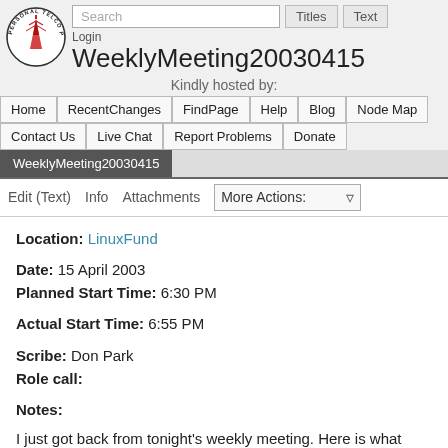WeeklyMeeting20030415
Kindly hosted by:
Home | RecentChanges | FindPage | Help | Blog | Node Map | Contact Us | Live Chat | Report Problems | Donate
Edit (Text)  Info  Attachments  More Actions:
Location: LinuxFund
Date: 15 April 2003
Planned Start Time: 6:30 PM
Actual Start Time: 6:55 PM
Scribe: Don Park
Role call:
Notes:
I just got back from tonight's weekly meeting. Here is what happened.